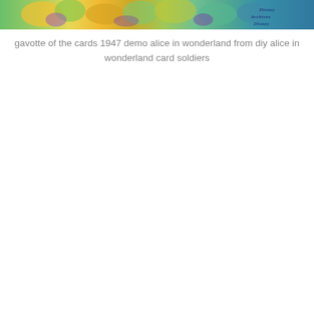[Figure (illustration): A colorful Disney illustration showing animated characters including card soldier figures with yellow, green, purple and teal colors, with the Disney Archives logo in the top right corner.]
gavotte of the cards 1947 demo alice in wonderland from diy alice in wonderland card soldiers